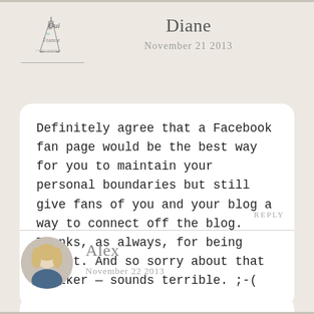[Figure (logo): Oui in France blog logo with Eiffel tower graphic]
Diane
November 21 2013
Definitely agree that a Facebook fan page would be the best way for you to maintain your personal boundaries but still give fans of you and your blog a way to connect off the blog. Thanks, as always, for being honest. And so sorry about that stalker — sounds terrible. ;-(
REPLY
[Figure (photo): Circular avatar photo of Alex, a blonde woman]
Alex
November 22 2013